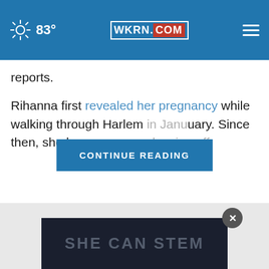83° WKRN.COM
reports.
Rihanna first revealed her pregnancy while walking through Harlem ... uary. Since then, she has ... showing off
CONTINUE READING
[Figure (infographic): Three green vertical bars loading indicator]
[Figure (infographic): Advertisement banner with text SHE CAN STEM on dark background]
SHE CAN STEM